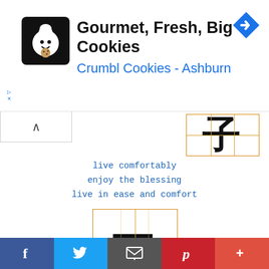[Figure (screenshot): Advertisement banner for Crumbl Cookies - Ashburn with logo, title 'Gourmet, Fresh, Big Cookies', subtitle 'Crumbl Cookies - Ashburn', and navigation arrow icon]
[Figure (illustration): Partial Chinese characters in orange grid box at top]
live comfortably
enjoy the blessing
live in ease and comfort
[Figure (illustration): Chinese characters 口福 in orange grid box]
gourmet's luck
enjoyment of the palate
luck in having good food
[Figure (illustration): Partial Chinese characters in orange grid box at bottom]
[Figure (screenshot): Social sharing bottom bar with Facebook, Twitter, Email, Pinterest, and More buttons]